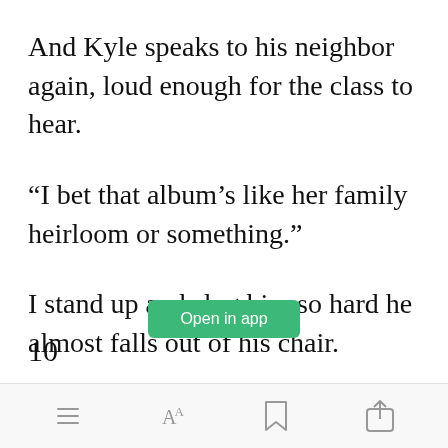And Kyle speaks to his neighbor again, loud enough for the class to hear.
“I bet that album’s like her family heirloom or something.”
I stand up and slug him so hard he almost falls out of his chair.
Open in app
10